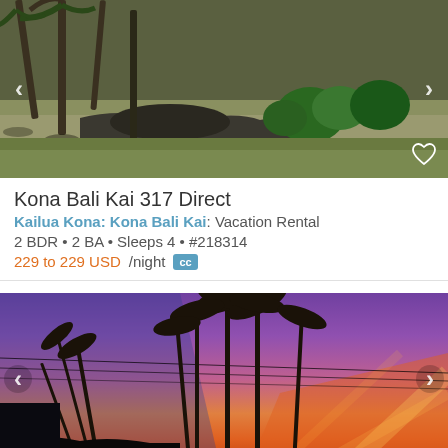[Figure (photo): Aerial or ground-level photo of a tropical property near a beach with palm trees and volcanic rock landscape, Kona Bali Kai]
Kona Bali Kai 317 Direct
Kailua Kona: Kona Bali Kai: Vacation Rental
2 BDR • 2 BA • Sleeps 4 • #218314
229 to 229 USD/night  CC
[Figure (photo): Tropical sunset photo with palm tree silhouettes against a vivid purple, pink, and orange sky with utility lines visible]